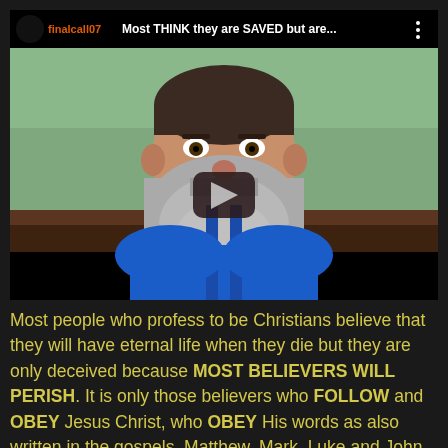[Figure (screenshot): YouTube video thumbnail showing a man with a large gray beard and blue shirt sitting in front of a green wall. Video title bar at top reads 'finalcall07  Most THINK they are SAVED but are...' with a play button overlay in the center. Bottom of video frame is black. Channel icon visible top-left.]
Most people who profess to be Christians believe that they will have eternal life when they die but they are only deceived because MOST BELIEVERS WILL PERISH. It is only those believers who FOLLOW and OBEY Jesus Christ, who OBEY His words as also written in the gospels, Matthew, Mark, Luke and John, it is only they who who will